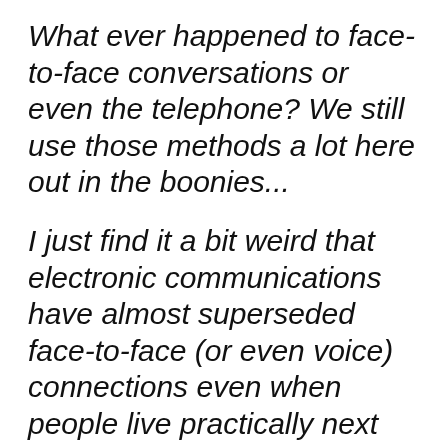What ever happened to face-to-face conversations or even the telephone? We still use those methods a lot here out in the boonies...
I just find it a bit weird that electronic communications have almost superseded face-to-face (or even voice) connections even when people live practically next door.
I think perhaps email and other forms of electronic